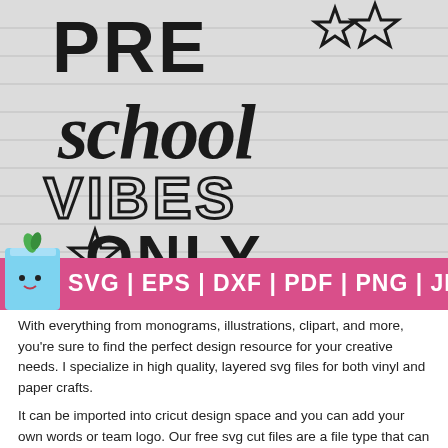[Figure (illustration): Preschool Vibes Only SVG design product image on wood plank background with pink banner showing file formats: SVG | EPS | DXF | PDF | PNG | JPG, with kawaii cake character]
With everything from monograms, illustrations, clipart, and more, you're sure to find the perfect design resource for your creative needs. I specialize in high quality, layered svg files for both vinyl and paper crafts.
It can be imported into cricut design space and you can add your own words or team logo. Our free svg cut files are a file type that can be scaled to use...